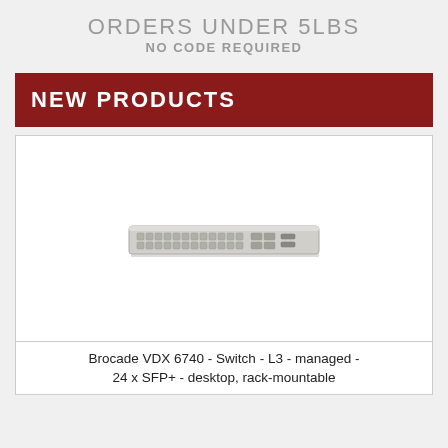ORDERS UNDER 5LBS
NO CODE REQUIRED
NEW PRODUCTS
[Figure (photo): Brocade VDX 6740 network switch - a flat 1U rack-mountable hardware switch with multiple SFP+ ports on the front, shown in a light gray/silver color]
Brocade VDX 6740 - Switch - L3 - managed - 24 x SFP+ - desktop, rack-mountable